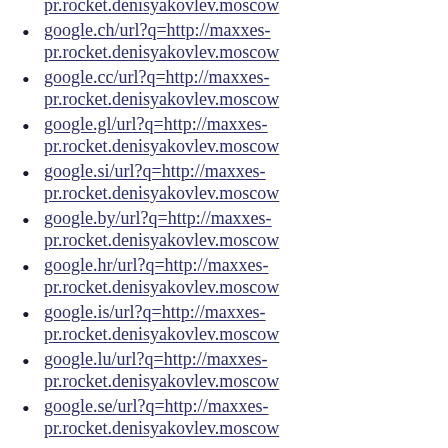pr.rocket.denisyakovlev.moscow
google.ch/url?q=http://maxxes-pr.rocket.denisyakovlev.moscow
google.cc/url?q=http://maxxes-pr.rocket.denisyakovlev.moscow
google.gl/url?q=http://maxxes-pr.rocket.denisyakovlev.moscow
google.si/url?q=http://maxxes-pr.rocket.denisyakovlev.moscow
google.by/url?q=http://maxxes-pr.rocket.denisyakovlev.moscow
google.hr/url?q=http://maxxes-pr.rocket.denisyakovlev.moscow
google.is/url?q=http://maxxes-pr.rocket.denisyakovlev.moscow
google.lu/url?q=http://maxxes-pr.rocket.denisyakovlev.moscow
google.se/url?q=http://maxxes-pr.rocket.denisyakovlev.moscow